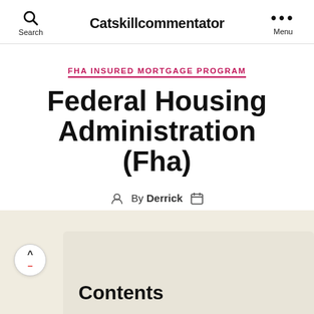Search  Catskillcommentator  Menu
FHA INSURED MORTGAGE PROGRAM
Federal Housing Administration (Fha)
By Derrick
Contents